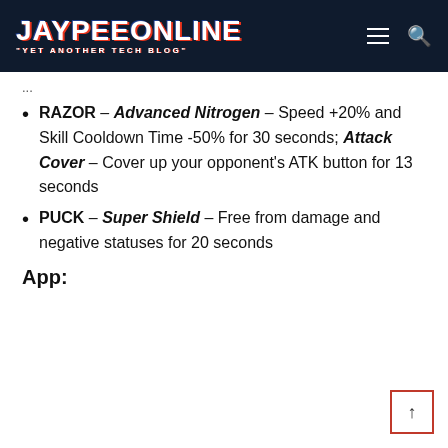JAYPEEONLINE "YET ANOTHER TECH BLOG"
RAZOR – Advanced Nitrogen – Speed +20% and Skill Cooldown Time -50% for 30 seconds; Attack Cover – Cover up your opponent's ATK button for 13 seconds
PUCK – Super Shield – Free from damage and negative statuses for 20 seconds
App: